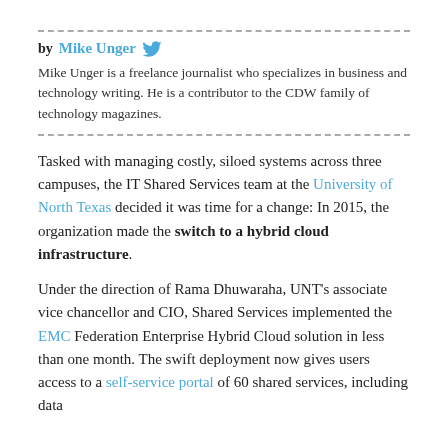by Mike Unger [Twitter icon]
Mike Unger is a freelance journalist who specializes in business and technology writing. He is a contributor to the CDW family of technology magazines.
Tasked with managing costly, siloed systems across three campuses, the IT Shared Services team at the University of North Texas decided it was time for a change: In 2015, the organization made the switch to a hybrid cloud infrastructure.
Under the direction of Rama Dhuwaraha, UNT's associate vice chancellor and CIO, Shared Services implemented the EMC Federation Enterprise Hybrid Cloud solution in less than one month. The swift deployment now gives users access to a self-service portal of 60 shared services, including data